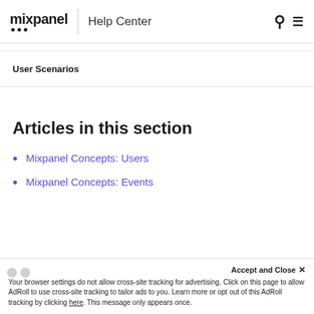mixpanel Help Center
User Scenarios
Articles in this section
Mixpanel Concepts: Users
Mixpanel Concepts: Events
Accept and Close ×
Your browser settings do not allow cross-site tracking for advertising. Click on this page to allow AdRoll to use cross-site tracking to tailor ads to you. Learn more or opt out of this AdRoll tracking by clicking here. This message only appears once.